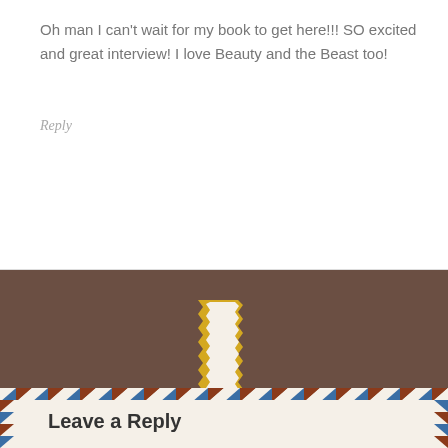Oh man I can't wait for my book to get here!!! SO excited and great interview! I love Beauty and the Beast too!
Reply
[Figure (illustration): Torn paper / ripped paper shape illustration with yellow zigzag edges on a brown background]
Leave a Reply
Your email address will not be published. Required fields are marked *